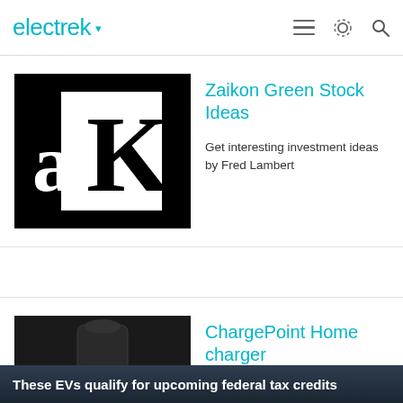electrek
Zaikon Green Stock Ideas
Get interesting investment ideas by Fred Lambert
ChargePoint Home charger
ChargePoint Home WiFi Enabled Electric Vehicle (EV) Charger
These EVs qualify for upcoming federal tax credits